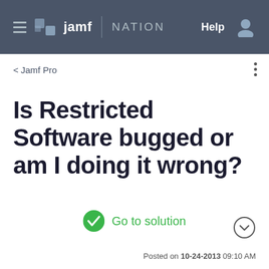jamf NATION   Help
< Jamf Pro
Is Restricted Software bugged or am I doing it wrong?
Go to solution
Posted on 10-24-2013 09:10 AM